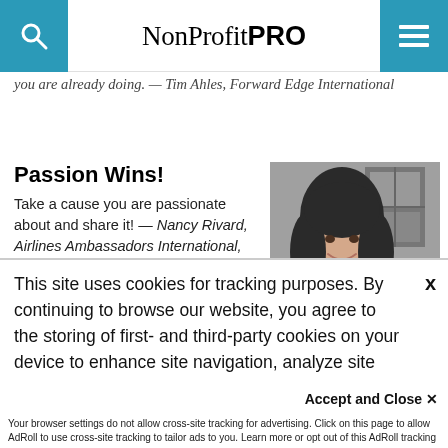NonProfit PRO
you are already doing. — Tim Ahles, Forward Edge International
Passion Wins!
Take a cause you are passionate about and share it! — Nancy Rivard, Airlines Ambassadors International, Inc.
[Figure (photo): Black and white portrait photo of a smiling woman, Nancy Rivard]
This site uses cookies for tracking purposes. By continuing to browse our website, you agree to the storing of first- and third-party cookies on your device to enhance site navigation, analyze site usage, and assist in our marketing and
Accept and Close ✕
Your browser settings do not allow cross-site tracking for advertising. Click on this page to allow AdRoll to use cross-site tracking to tailor ads to you. Learn more or opt out of this AdRoll tracking by clicking here. This message only appears once.